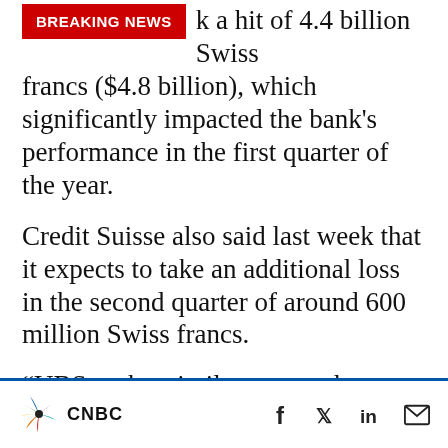k a hit of 4.4 billion Swiss francs ($4.8 billion), which significantly impacted the bank's performance in the first quarter of the year.
Credit Suisse also said last week that it expects to take an additional loss in the second quarter of around 600 million Swiss francs.
“UBS took a similar approach to Morgan Stanley and reported the impact on the announcement of results,” Rivas said.
Morgan Stanley was among the named banks that
CNBC